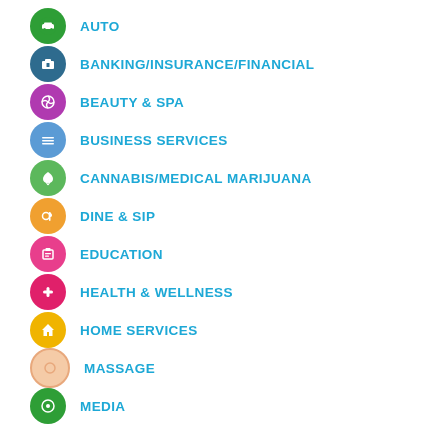AUTO
BANKING/INSURANCE/FINANCIAL
BEAUTY & SPA
BUSINESS SERVICES
CANNABIS/MEDICAL MARIJUANA
DINE & SIP
EDUCATION
HEALTH & WELLNESS
HOME SERVICES
MASSAGE
MEDIA